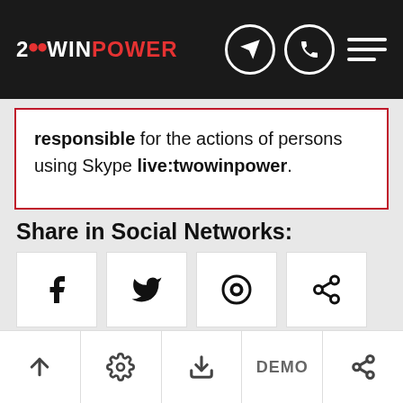2WINPOWER navigation bar with logo, Telegram icon, phone icon, hamburger menu
responsible for the actions of persons using Skype live:twowinpower.
Share in Social Networks:
[Figure (screenshot): Social network share buttons: Facebook, Twitter, Viber/other, Share icon]
Up arrow | Settings/gear icon | Download icon | DEMO | Share icon